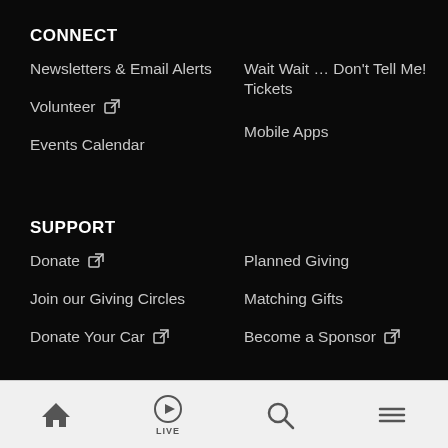CONNECT
Newsletters & Email Alerts
Wait Wait … Don't Tell Me! Tickets
Volunteer
Mobile Apps
Events Calendar
SUPPORT
Donate
Planned Giving
Join our Giving Circles
Matching Gifts
Donate Your Car
Become a Sponsor
Home | Live | Search | Menu